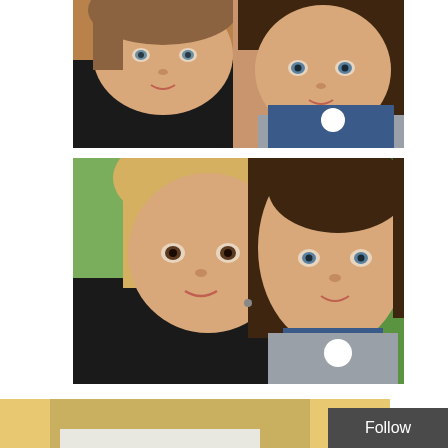[Figure (photo): Close-up photo of two American Girl dolls side by side. Left doll has light brown hair, right doll has dark brown hair and blue eyes, wearing denim overalls over a gray shirt with white polka dots.]
[Figure (photo): Outdoor photo of two American Girl dolls. Left doll has blonde hair and brown eyes in a black leather vest, right doll has dark brown hair and blue eyes in denim overalls over gray shirt. Green grass and wooden fence in background.]
[Figure (photo): Partial photo of a doll with blonde/light hair, partially cut off at bottom of page.]
Follow